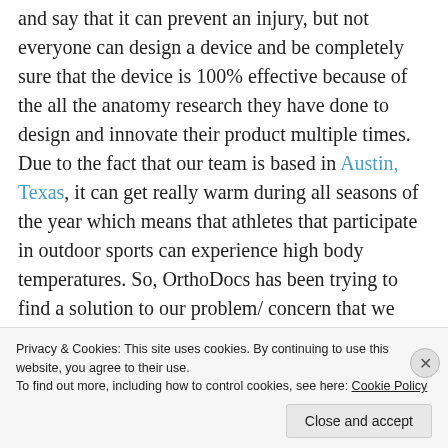and say that it can prevent an injury, but not everyone can design a device and be completely sure that the device is 100% effective because of the all the anatomy research they have done to design and innovate their product multiple times. Due to the fact that our team is based in Austin, Texas, it can get really warm during all seasons of the year which means that athletes that participate in outdoor sports can experience high body temperatures. So, OrthoDocs has been trying to find a solution to our problem/ concern that we have for our device, which is how are we going to maintain
Privacy & Cookies: This site uses cookies. By continuing to use this website, you agree to their use.
To find out more, including how to control cookies, see here: Cookie Policy